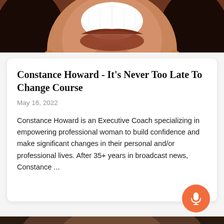[Figure (photo): Close-up photo of a smiling Black woman, showing teeth and lower face with earrings and beaded necklace, cropped at top of page]
Constance Howard - It's Never Too Late To Change Course
May 16, 2022
Constance Howard is an Executive Coach specializing in empowering professional woman to build confidence and make significant changes in their personal and/or professional lives. After 35+ years in broadcast news, Constance ...
[Figure (photo): Partial photo at bottom of page, partially visible]